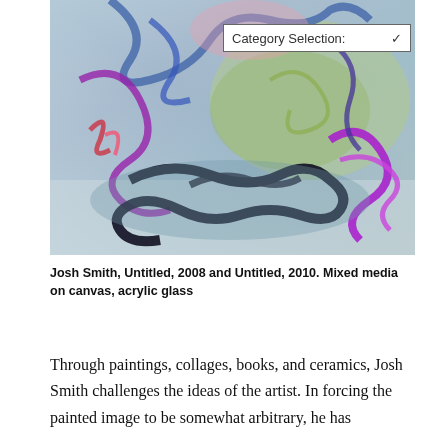[Figure (photo): Abstract mixed media painting with swirling brushstrokes in blues, purples, greens, blacks, and pinks on a light background. The painting shows energetic, gestural marks with curving lines and layered colors.]
Josh Smith, Untitled, 2008 and Untitled, 2010. Mixed media on canvas, acrylic glass
Through paintings, collages, books, and ceramics, Josh Smith challenges the ideas of the artist. In forcing the painted image to be somewhat arbitrary, he has